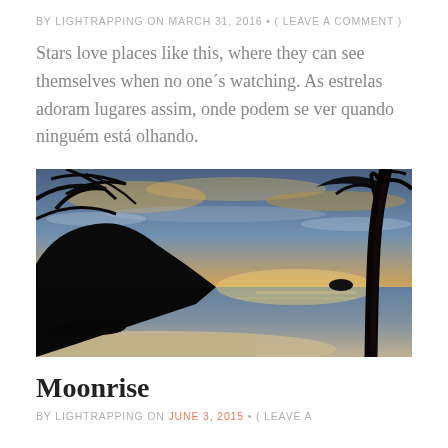BY LIGHTRAPPING ON MARCH 31, 2016 • ( LEAVE A COMMENT )
Stars love places like this, where they can see themselves when no one´s watching. As estrelas adoram lugares assim, onde podem se ver quando ninguém está olhando.
[Figure (photo): Tropical beach at dusk/dawn with silhouetted mountains on the left, a tall palm tree on the right, and a glowing sky with clouds. Calm water reflects the light on the horizon.]
Moonrise
BY LIGHTRAPPING ON JUNE 3, 2015 • ( LEAVE A